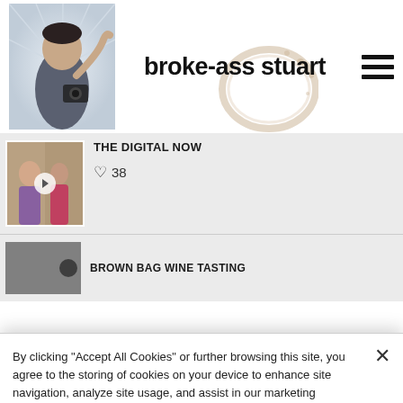broke-ass stuart
THE DIGITAL NOW
♡ 38
BROWN BAG WINE TASTING
By clicking “Accept All Cookies” or further browsing this site, you agree to the storing of cookies on your device to enhance site navigation, analyze site usage, and assist in our marketing efforts. Cookie Policy
Cookies Settings
Reject All
Accept All Cookies